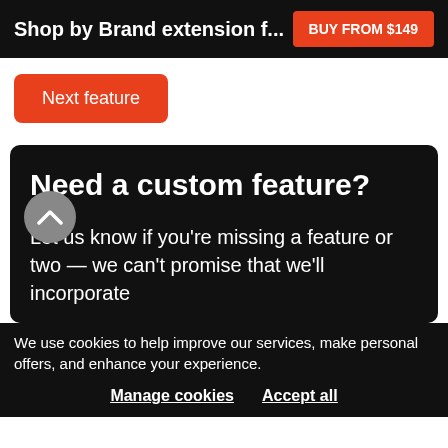Shop by Brand extension f...  BUY FROM $149
Next feature
Need a custom feature?
Let us know if you're missing a feature or two — we can't promise that we'll incorporate
We use cookies to help improve our services, make personal offers, and enhance your experience.
Manage cookies    Accept all